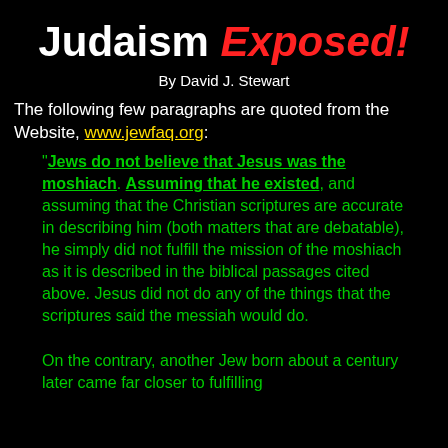Judaism Exposed!
By David J. Stewart
The following few paragraphs are quoted from the Website, www.jewfaq.org:
"Jews do not believe that Jesus was the moshiach. Assuming that he existed, and assuming that the Christian scriptures are accurate in describing him (both matters that are debatable), he simply did not fulfill the mission of the moshiach as it is described in the biblical passages cited above. Jesus did not do any of the things that the scriptures said the messiah would do.

On the contrary, another Jew born about a century later came far closer to fulfilling